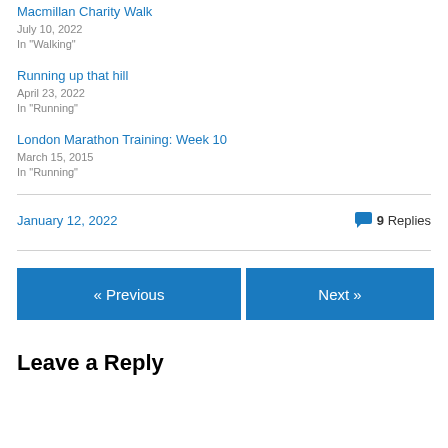Macmillan Charity Walk
July 10, 2022
In "Walking"
Running up that hill
April 23, 2022
In "Running"
London Marathon Training: Week 10
March 15, 2015
In "Running"
January 12, 2022
9 Replies
« Previous
Next »
Leave a Reply